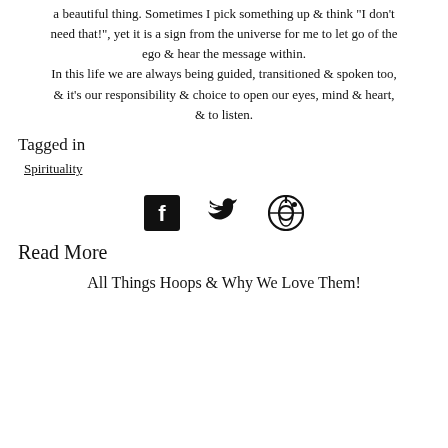a beautiful thing. Sometimes I pick something up & think "I don't need that!", yet it is a sign from the universe for me to let go of the ego & hear the message within.
In this life we are always being guided, transitioned & spoken too, & it's our responsibility & choice to open our eyes, mind & heart, & to listen.
Tagged in
Spirituality
[Figure (infographic): Social sharing icons: Facebook, Twitter, Pinterest]
Read More
All Things Hoops & Why We Love Them!